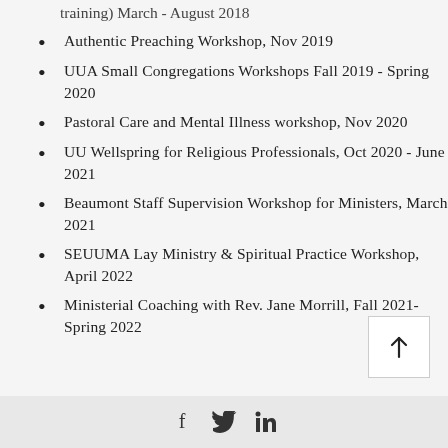training) March - August 2018
Authentic Preaching Workshop, Nov 2019
UUA Small Congregations Workshops Fall 2019 - Spring 2020
Pastoral Care and Mental Illness workshop, Nov 2020
UU Wellspring for Religious Professionals, Oct 2020 - June 2021
Beaumont Staff Supervision Workshop for Ministers, March 2021
SEUUMA Lay Ministry & Spiritual Practice Workshop, April 2022
Ministerial Coaching with Rev. Jane Morrill, Fall 2021-Spring 2022
Social media icons: Facebook, Twitter, LinkedIn